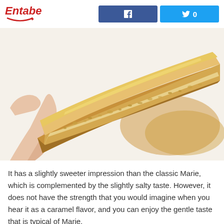Entabe
[Figure (photo): Close-up photo of a hand holding a Marie-style biscuit/cookie broken in half, showing the interior crumb texture. Another whole biscuit is blurred in the background. White background with warm golden-brown biscuit coloring.]
It has a slightly sweeter impression than the classic Marie, which is complemented by the slightly salty taste. However, it does not have the strength that you would imagine when you hear it as a caramel flavor, and you can enjoy the gentle taste that is typical of Marie.